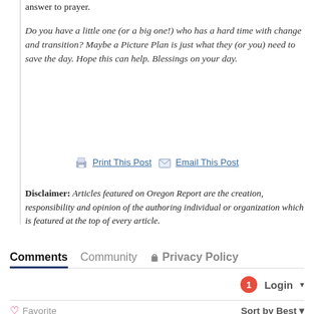answer to prayer.
Do you have a little one (or a big one!) who has a hard time with change and transition? Maybe a Picture Plan is just what they (or you) need to save the day. Hope this can help. Blessings on your day.
Print This Post  Email This Post
Disclaimer: Articles featured on Oregon Report are the creation, responsibility and opinion of the authoring individual or organization which is featured at the top of every article.
Comments  Community  Privacy Policy
1  Login
Favorite  Sort by Best